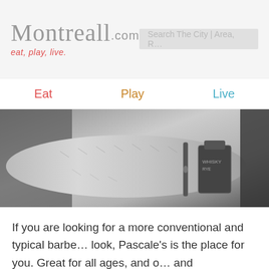Montreall.com — eat, play, live. | Search The City | Area, R…
[Figure (screenshot): Navigation bar with Eat (red), Play (orange), Live (blue) links on white background]
[Figure (photo): Black and white close-up photo of a person's arm/wrist holding a whiskey bottle charm or keychain]
If you are looking for a more conventional and typical barbe… look, Pascale's is the place for you. Great for all ages, and o… and reservations, Pascale's is a cool place to be. With many… there, you can see the passion for their work, making s…